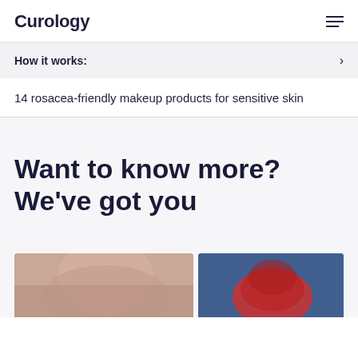Curology
How it works:
14 rosacea-friendly makeup products for sensitive skin
Want to know more? We've got you
[Figure (photo): Two photos partially visible at bottom: left shows a close-up of a person's face with reddened skin (rosacea), right shows a hand gripping red fabric against a blue background.]